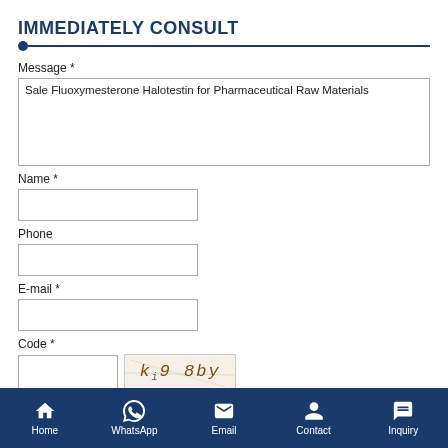IMMEDIATELY CONSULT
Message *
Sale Fluoxymesterone Halotestin for Pharmaceutical Raw Materials
Name *
Phone
E-mail *
Code *
Home | WhatsApp | Email | Contact | Inquiry